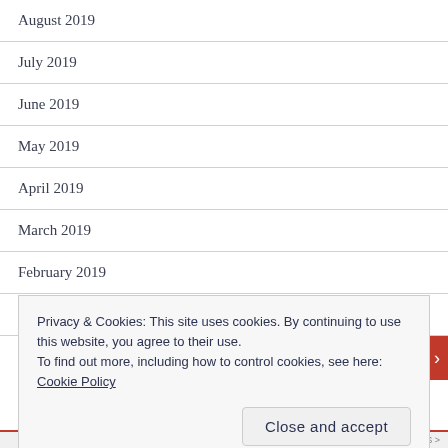August 2019
July 2019
June 2019
May 2019
April 2019
March 2019
February 2019
January 2019
December 2018
Privacy & Cookies: This site uses cookies. By continuing to use this website, you agree to their use.
To find out more, including how to control cookies, see here:
Cookie Policy
Close and accept